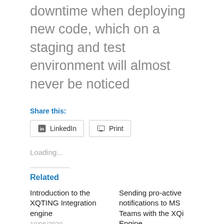downtime when deploying new code, which on a staging and test environment will almost never be noticed
Share this:
LinkedIn  Print
Loading...
Related
Introduction to the XQTING Integration engine
10/06/2020
In "API"
Sending pro-active notifications to MS Teams with the XQi Engine
21/08/2020
In "msgraph"